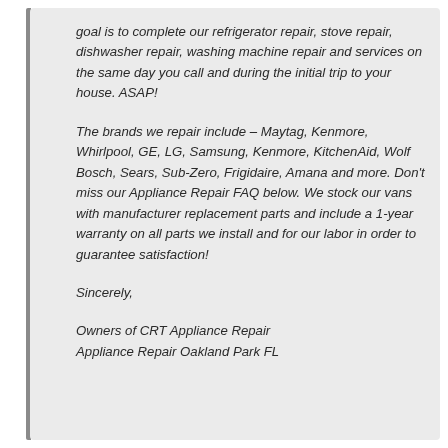goal is to complete our refrigerator repair, stove repair, dishwasher repair, washing machine repair and services on the same day you call and during the initial trip to your house. ASAP!
The brands we repair include – Maytag, Kenmore, Whirlpool, GE, LG, Samsung, Kenmore, KitchenAid, Wolf Bosch, Sears, Sub-Zero, Frigidaire, Amana and more. Don't miss our Appliance Repair FAQ below. We stock our vans with manufacturer replacement parts and include a 1-year warranty on all parts we install and for our labor in order to guarantee satisfaction!
Sincerely,
Owners of CRT Appliance Repair
Appliance Repair Oakland Park FL